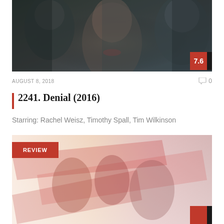[Figure (photo): Close-up movie poster for Denial (2016) showing three faces — a blurred man on left, a woman in center with eyes closed, and a man on right, with dark cinematic tones and a red score badge showing 7.6]
AUGUST 8, 2018
0
2241. Denial (2016)
Starring: Rachel Weisz, Timothy Spall, Tim Wilkinson
REVIEW
[Figure (photo): Partially visible movie poster with red and warm-toned action/superhero style imagery, partially obscured by the page boundary]